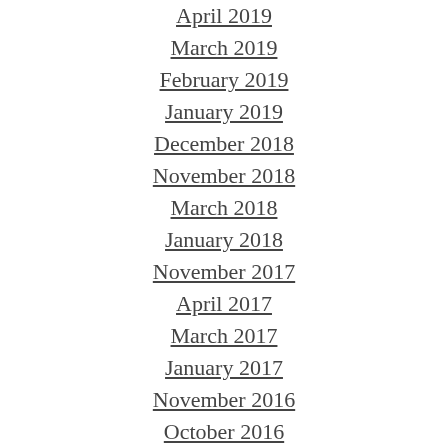April 2019
March 2019
February 2019
January 2019
December 2018
November 2018
March 2018
January 2018
November 2017
April 2017
March 2017
January 2017
November 2016
October 2016
September 2016
July 2016
June 2016
May 2016
April 2016